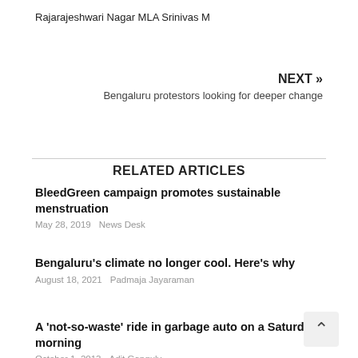Rajarajeshwari Nagar MLA Srinivas M
NEXT »
Bengaluru protestors looking for deeper change
RELATED ARTICLES
BleedGreen campaign promotes sustainable menstruation
May 28, 2019   News Desk
Bengaluru's climate no longer cool. Here's why
August 18, 2021   Padmaja Jayaraman
A 'not-so-waste' ride in garbage auto on a Saturday morning
October 1, 2013   Adit Ganguly